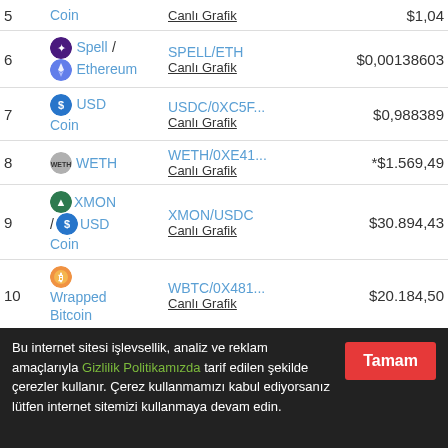| # | Coin | Pair | Price |
| --- | --- | --- | --- |
| 5 | Coin | Canlı Grafik | $1,04 |
| 6 | Spell / Ethereum | SPELL/ETH
Canlı Grafik | $0,00138603 |
| 7 | USD Coin | USDC/0XC5F...
Canlı Grafik | $0,988389 |
| 8 | WETH | WETH/0XE41...
Canlı Grafik | *$1.569,49 |
| 9 | XMON / USD Coin | XMON/USDC
Canlı Grafik | $30.894,43 |
| 10 | Wrapped Bitcoin | WBTC/0X481...
Canlı Grafik | $20.184,50 |
Bu internet sitesi işlevsellik, analiz ve reklam amaçlarıyla Gizlilik Politikamızda tarif edilen şekilde çerezler kullanır. Çerez kullanmamızı kabul ediyorsanız lütfen internet sitemizi kullanmaya devam edin.